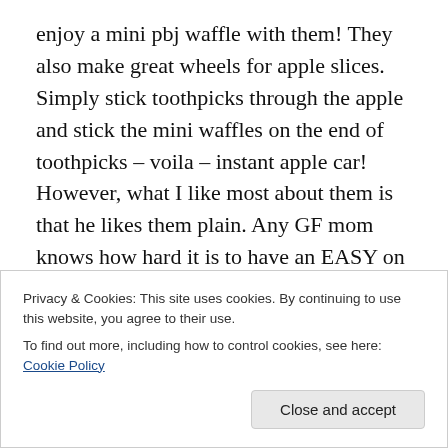enjoy a mini pbj waffle with them! They also make great wheels for apple slices. Simply stick toothpicks through the apple and stick the mini waffles on the end of toothpicks – voila – instant apple car! However, what I like most about them is that he likes them plain. Any GF mom knows how hard it is to have an EASY on the go snack that doesn't take much prep. These fit the bill. We can be running late and warm one of these in the toaster to take with us for a quick breakfast. And they are easy to toast and then...
Privacy & Cookies: This site uses cookies. By continuing to use this website, you agree to their use. To find out more, including how to control cookies, see here: Cookie Policy